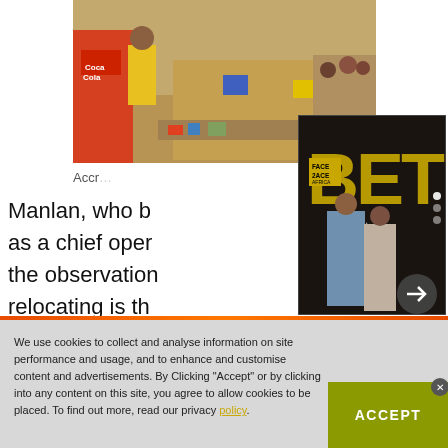[Figure (photo): Outdoor market scene with people, stalls, and colorful items on the street. A Coca-Cola cart is visible on the left.]
Accr…
Manlan, who b… as a chief oper… the observation… relocating is th…
[Figure (photo): Overlay card showing Face2Face Africa logo, BET text in yellow/gold, and two people (a man in a blue suit and a woman in a grey outfit) posing in front of a BET promotional backdrop. Navigation dots and arrow button visible.]
We use cookies to collect and analyse information on site performance and usage, and to enhance and customise content and advertisements. By Clicking "Accept" or by clicking into any content on this site, you agree to allow cookies to be placed. To find out more, read our privacy policy.